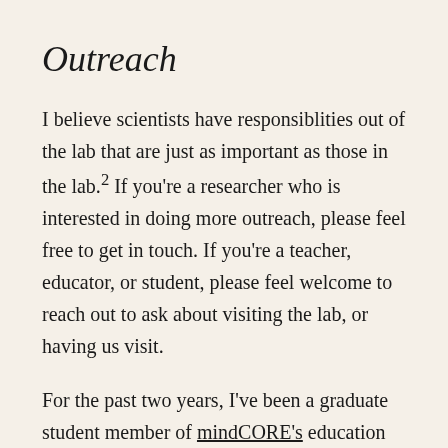Outreach
I believe scientists have responsiblities out of the lab that are just as important as those in the lab.² If you're a researcher who is interested in doing more outreach, please feel free to get in touch. If you're a teacher, educator, or student, please feel welcome to reach out to ask about visiting the lab, or having us visit.
For the past two years, I've been a graduate student member of mindCORE's education comittee. It is currently in the process of